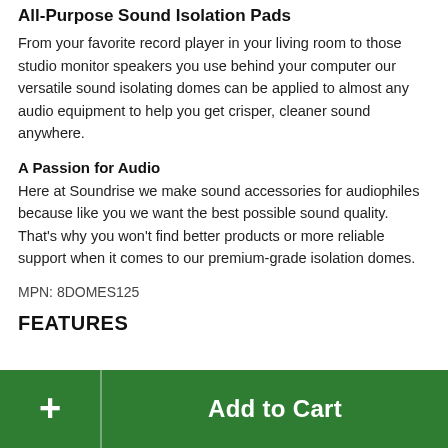All-Purpose Sound Isolation Pads
From your favorite record player in your living room to those studio monitor speakers you use behind your computer our versatile sound isolating domes can be applied to almost any audio equipment to help you get crisper, cleaner sound anywhere.
A Passion for Audio
Here at Soundrise we make sound accessories for audiophiles because like you we want the best possible sound quality. That's why you won't find better products or more reliable support when it comes to our premium-grade isolation domes.
MPN: 8DOMES125
FEATURES
+ Add to Cart